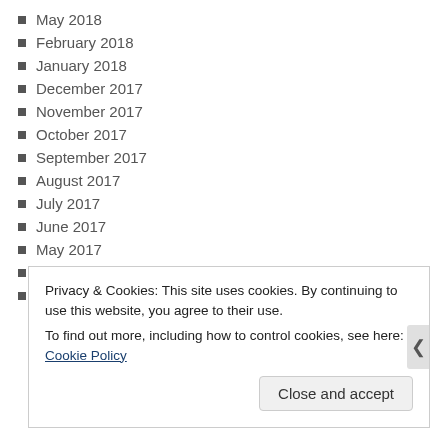May 2018
February 2018
January 2018
December 2017
November 2017
October 2017
September 2017
August 2017
July 2017
June 2017
May 2017
April 2017
March 2017
Privacy & Cookies: This site uses cookies. By continuing to use this website, you agree to their use.
To find out more, including how to control cookies, see here: Cookie Policy